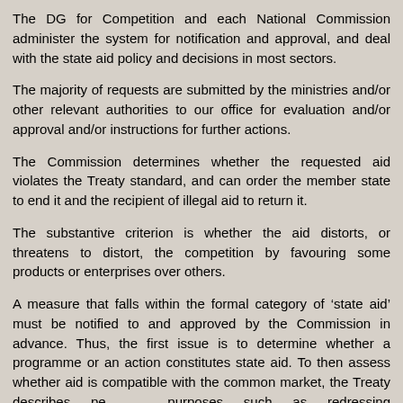The DG for Competition and each National Commission administer the system for notification and approval, and deal with the state aid policy and decisions in most sectors.
The majority of requests are submitted by the ministries and/or other relevant authorities to our office for evaluation and/or approval and/or instructions for further actions.
The Commission determines whether the requested aid violates the Treaty standard, and can order the member state to end it and the recipient of illegal aid to return it.
The substantive criterion is whether the aid distorts, or threatens to distort, the competition by favouring some products or enterprises over others.
A measure that falls within the formal category of ‘state aid’ must be notified to and approved by the Commission in advance. Thus, the first issue is to determine whether a programme or an action constitutes state aid. To then assess whether aid is compatible with the common market, the Treaty describes permitted purposes such as redressing underdevelopment, unemployment and dealing with serious economic disturbances and is to protect Projects of Common European Interest. Aid for